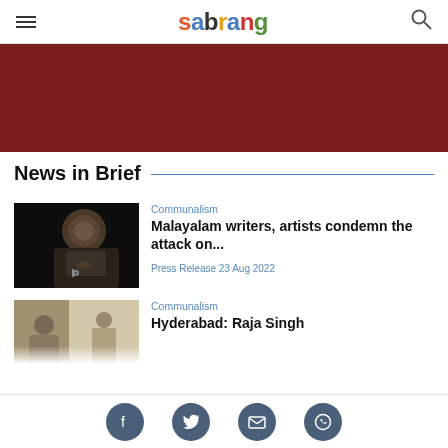sabrang
[Figure (photo): Dark red/maroon banner rectangle]
News in Brief
[Figure (photo): Man in dark suit speaking into microphone at event - black background]
Communalism
Malayalam writers, artists condemn the attack on...
Press Release 23 Aug 2022
[Figure (photo): Partially visible photo of people at an event]
Communalism
Hyderabad: Raja Singh
Social share icons: Facebook, Twitter, Email, WhatsApp